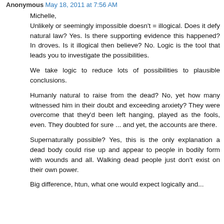Anonymous May 18, 2011 at 7:56 AM
Michelle,
Unlikely or seemingly impossible doesn't = illogical. Does it defy natural law? Yes. Is there supporting evidence this happened? In droves. Is it illogical then believe? No. Logic is the tool that leads you to investigate the possibilities.
We take logic to reduce lots of possibilities to plausible conclusions.
Humanly natural to raise from the dead? No, yet how many witnessed him in their doubt and exceeding anxiety? They were overcome that they'd been left hanging, played as the fools, even. They doubted for sure ... and yet, the accounts are there.
Supernaturally possible? Yes, this is the only explanation a dead body could rise up and appear to people in bodily form with wounds and all. Walking dead people just don't exist on their own power.
Big difference, htun, what one would expect logically and...